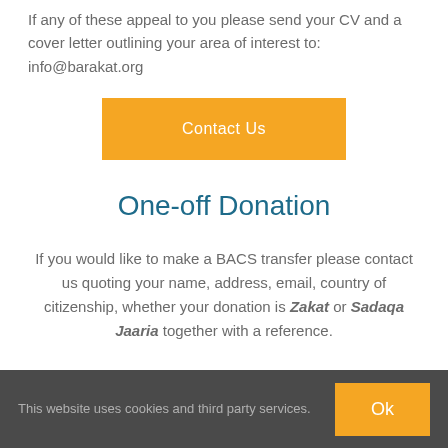If any of these appeal to you please send your CV and a cover letter outlining your area of interest to: info@barakat.org
[Figure (other): Orange 'Contact Us' button]
One-off Donation
If you would like to make a BACS transfer please contact us quoting your name, address, email, country of citizenship, whether your donation is Zakat or Sadaqa Jaaria together with a reference.
This website uses cookies and third party services. Ok